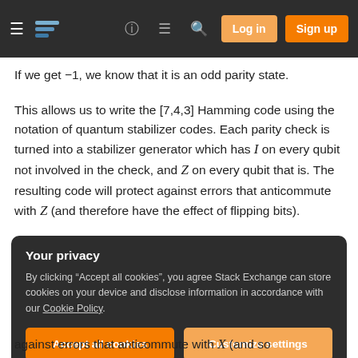Stack Exchange navigation bar with hamburger menu, logo, help, chat, search icons, Log in and Sign up buttons
If we get −1, we know that it is an odd parity state.
This allows us to write the [7,4,3] Hamming code using the notation of quantum stabilizer codes. Each parity check is turned into a stabilizer generator which has I on every qubit not involved in the check, and Z on every qubit that is. The resulting code will protect against errors that anticommute with Z (and therefore have the effect of flipping bits).
Your privacy
By clicking "Accept all cookies", you agree Stack Exchange can store cookies on your device and disclose information in accordance with our Cookie Policy.
Accept all cookies   Customize settings
against errors that anticommute with X (and so